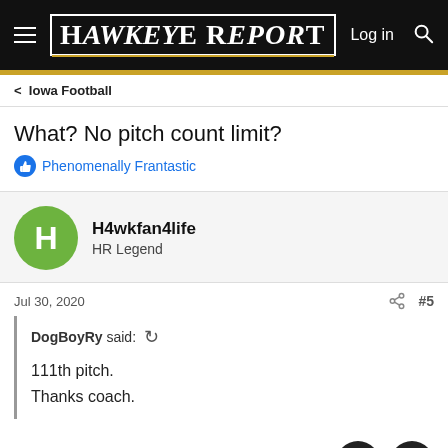Hawkeye Report
Iowa Football
What? No pitch count limit?
Phenomenally Frantastic
H4wkfan4life
HR Legend
Jul 30, 2020   #5
DogBoyRy said:
111th pitch.
Thanks coach.